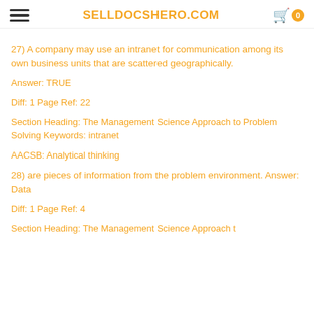SELLDOCSHERO.COM
27) A company may use an intranet for communication among its own business units that are scattered geographically.
Answer: TRUE
Diff: 1 Page Ref: 22
Section Heading: The Management Science Approach to Problem Solving Keywords: intranet
AACSB: Analytical thinking
28) are pieces of information from the problem environment. Answer: Data
Diff: 1 Page Ref: 4
Section Heading: The Management Science Approach t